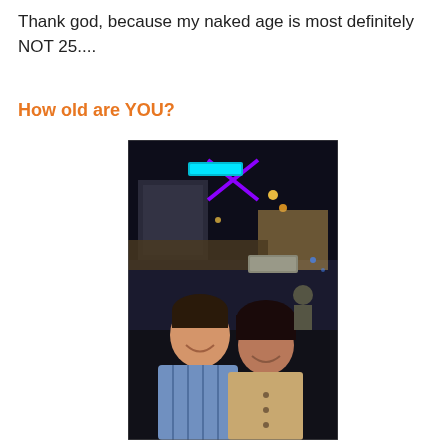Thank god, because my naked age is most definitely NOT 25....
How old are YOU?
[Figure (photo): A man and a woman smiling together outdoors at night in front of a building with neon lights and signage in the background.]